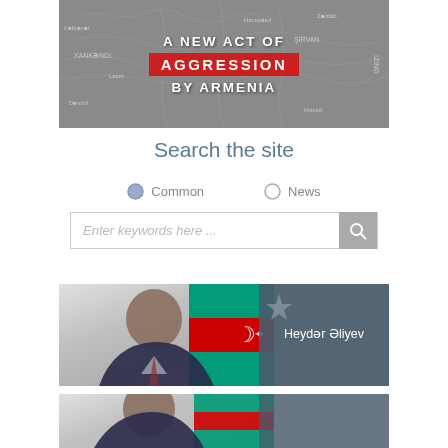[Figure (illustration): Banner image with map background showing region around Azerbaijan and Armenia, with text overlay reading 'A NEW ACT OF AGGRESSION BY ARMENIA'. The word AGGRESSION appears in a red box.]
Search the site
Common   News (radio buttons)
Enter keywords here ...
[Figure (photo): Photo of Heydər Əliyev with Azerbaijani flag in background. Dark blue/gray overlay on right side with name label.]
[Figure (photo): Partial photo of another person (cropped at bottom) with Azerbaijani flag, partially visible at bottom of page.]